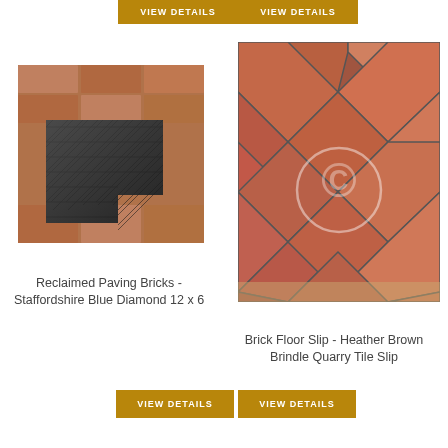[Figure (photo): Top-left VIEW DETAILS button (partial, cropped at top)]
[Figure (photo): Top-right VIEW DETAILS button (partial, cropped at top)]
[Figure (photo): Photo of Reclaimed Paving Bricks - Staffordshire Blue Diamond 12x6, showing dark diamond-patterned paver on red brick surface]
[Figure (photo): Photo of Brick Floor Slip - Heather Brown Brindle Quarry Tile Slip, showing terracotta/brown tiles arranged diagonally with copyright watermark]
Reclaimed Paving Bricks - Staffordshire Blue Diamond 12 x 6
Brick Floor Slip - Heather Brown Brindle Quarry Tile Slip
VIEW DETAILS
VIEW DETAILS